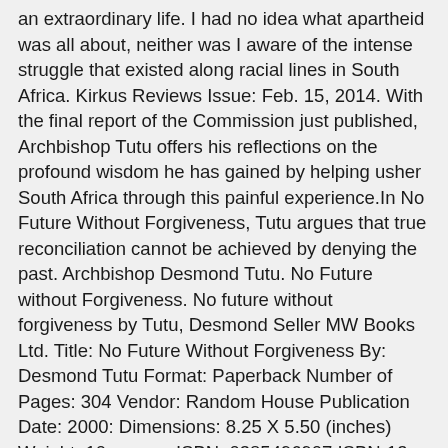an extraordinary life. I had no idea what apartheid was all about, neither was I aware of the intense struggle that existed along racial lines in South Africa. Kirkus Reviews Issue: Feb. 15, 2014. With the final report of the Commission just published, Archbishop Tutu offers his reflections on the profound wisdom he has gained by helping usher South Africa through this painful experience.In No Future Without Forgiveness, Tutu argues that true reconciliation cannot be achieved by denying the past. Archbishop Desmond Tutu. No Future without Forgiveness. No future without forgiveness by Tutu, Desmond Seller MW Books Ltd. Title: No Future Without Forgiveness By: Desmond Tutu Format: Paperback Number of Pages: 304 Vendor: Random House Publication Date: 2000: Dimensions: 8.25 X 5.50 (inches) Weight: 10 ounces ISBN: 0385496907 ISBN-13: 9780385496902 Stock No: WW496907 Citing Literature. We live in a world that assumes that when injustice, hurt, and pain is caused- the only options are payment or punishment, but Christ shows a third way—Pardon. Browse All Figures